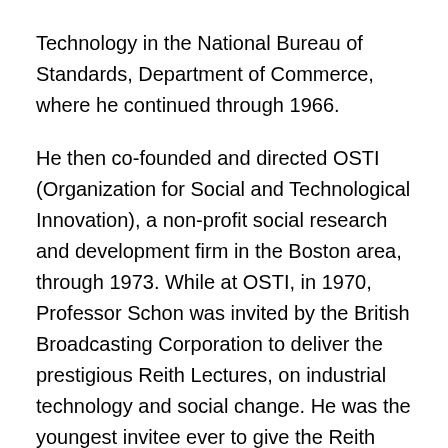Technology in the National Bureau of Standards, Department of Commerce, where he continued through 1966.
He then co-founded and directed OSTI (Organization for Social and Technological Innovation), a non-profit social research and development firm in the Boston area, through 1973. While at OSTI, in 1970, Professor Schon was invited by the British Broadcasting Corporation to deliver the prestigious Reith Lectures, on industrial technology and social change. He was the youngest invitee ever to give the Reith Lectures.
In 1972, he was appointed Ford Professor of Urban Studies and Education at MIT. From 1990 to 1992, he served as Chair of MIT's Department of Urban